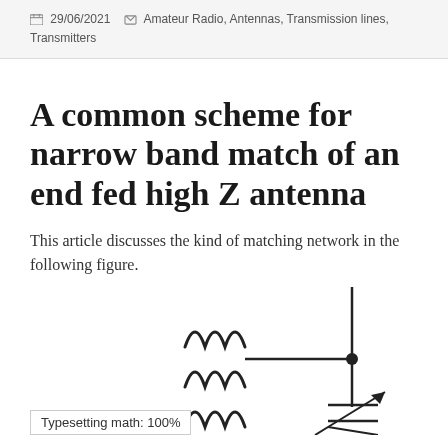29/06/2021   Amateur Radio, Antennas, Transmission lines, Transmitters
A common scheme for narrow band match of an end fed high Z antenna
This article discusses the kind of matching network in the following figure.
[Figure (circuit-diagram): Partial circuit diagram showing an end fed high Z antenna matching network with a transformer (inductor symbol), a vertical wire, a junction node (filled dot), and a variable capacitor symbol pointing downward.]
Typesetting math: 100%